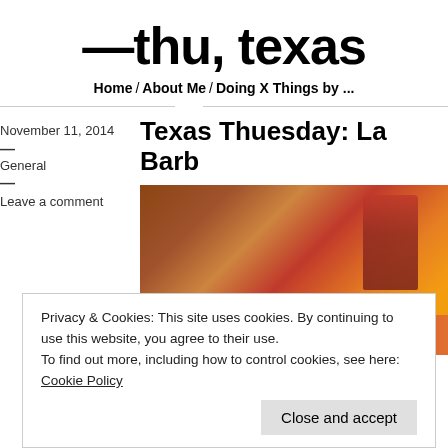— thu, texas
Home / About Me / Doing X Things by ...
November 11, 2014
General
Leave a comment
Texas Thuesday: La Barb...
[Figure (photo): Food and drink photo showing a glass of beverage and food items on a table]
Privacy & Cookies: This site uses cookies. By continuing to use this website, you agree to their use.
To find out more, including how to control cookies, see here: Cookie Policy
Close and accept